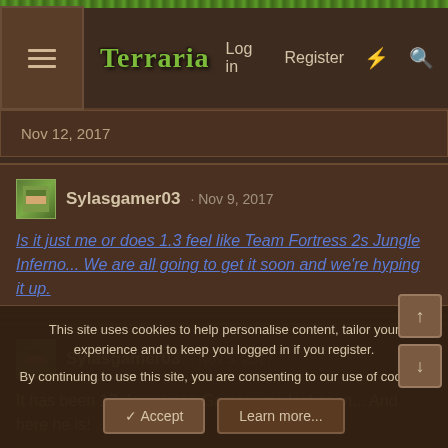Terraria  Log in  Register
Nov 12, 2017
Sylasgamer03 · Nov 9, 2017
Is it just me or does 1.3 feel like Team Fortress 2s Jungle Inferno... We are all going to get it soon and we're hyping it up.
Sylasgamer03 · Nov 5, 2017
It has been 13 days since Gamer was last seen... And here he is!
👍 Daikonradish
Daikonradish
This site uses cookies to help personalise content, tailor your experience and to keep you logged in if you register.
By continuing to use this site, you are consenting to our use of cookies.